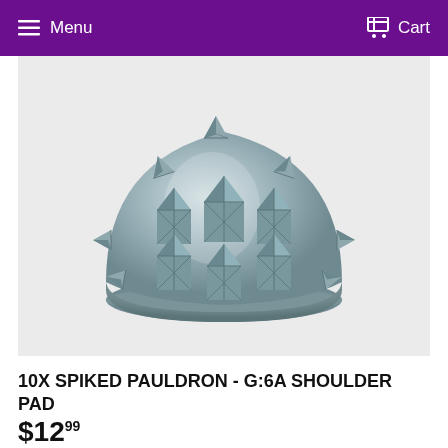Menu   Cart
[Figure (illustration): 3D render of a spiked pauldron shoulder pad with multiple pyramid-shaped spikes arranged on a dome-shaped metallic gray base]
10X SPIKED PAULDRON - G:6A SHOULDER PAD
$12.99